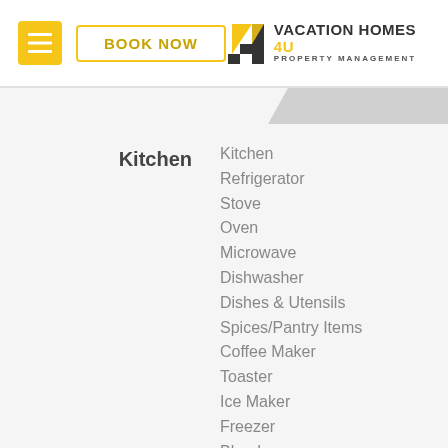BOOK NOW | Vacation Homes 4U Property Management
Kitchen
Kitchen
Refrigerator
Stove
Oven
Microwave
Dishwasher
Dishes & Utensils
Spices/Pantry Items
Coffee Maker
Toaster
Ice Maker
Freezer
Blender
Kettle